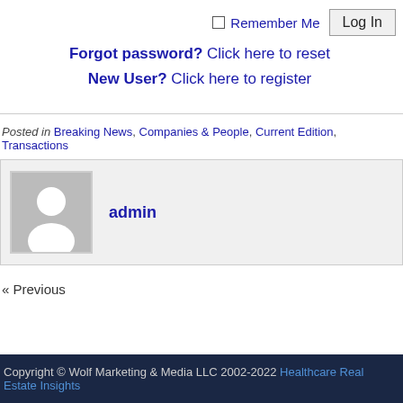Remember Me  Log In
Forgot password? Click here to reset
New User? Click here to register
Posted in Breaking News, Companies & People, Current Edition, Transactions
admin
« Previous
Copyright © Wolf Marketing & Media LLC 2002-2022 Healthcare Real Estate Insights